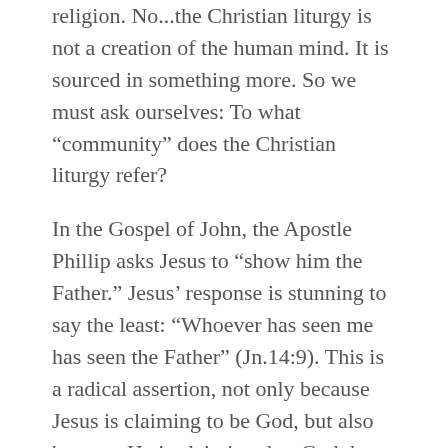religion. No...the Christian liturgy is not a creation of the human mind. It is sourced in something more. So we must ask ourselves: To what “community” does the Christian liturgy refer?
In the Gospel of John, the Apostle Phillip asks Jesus to “show him the Father.” Jesus’ response is stunning to say the least: “Whoever has seen me has seen the Father” (Jn.14:9). This is a radical assertion, not only because Jesus is claiming to be God, but also because He is claiming that God does not exist alone in His divinity. In these